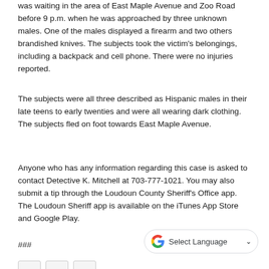was waiting in the area of East Maple Avenue and Zoo Road before 9 p.m. when he was approached by three unknown males. One of the males displayed a firearm and two others brandished knives. The subjects took the victim's belongings, including a backpack and cell phone. There were no injuries reported.
The subjects were all three described as Hispanic males in their late teens to early twenties and were all wearing dark clothing. The subjects fled on foot towards East Maple Avenue.
Anyone who has any information regarding this case is asked to contact Detective K. Mitchell at 703-777-1021. You may also submit a tip through the Loudoun County Sheriff’s Office app. The Loudoun Sheriff app is available on the iTunes App Store and Google Play.
###
[Figure (other): Google Translate 'Select Language' widget button with Google G logo and dropdown arrow]